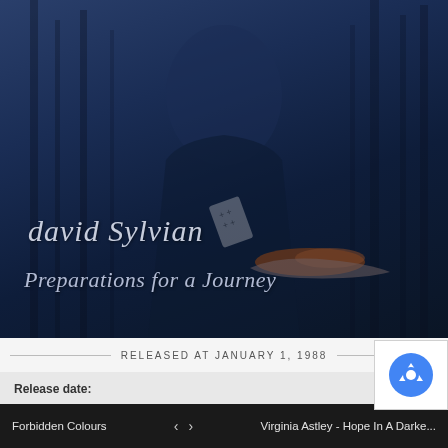[Figure (photo): Album cover for David Sylvian 'Preparations for a Journey' (1988). Dark blue-tinted photograph of a young man in a suit looking upward, with tree silhouettes in the background and a blurred orange/flame-like element in the foreground. Artist name 'david Sylvian' and album title 'Preparations for a Journey' appear in cursive script overlay.]
RELEASED AT JANUARY 1, 1988
Release date:
Forbidden Colours
Virginia Astley - Hope In A Darke...